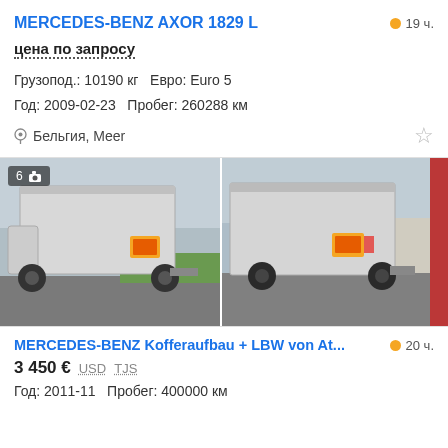MERCEDES-BENZ AXOR 1829 L
19 ч.
цена по запросу
Грузопод.: 10190 кг   Евро: Euro 5
Год: 2009-02-23   Пробег: 260288 км
Бельгия, Meer
[Figure (photo): Two photos of a white Mercedes-Benz box truck from the rear-side angle, parked on a road with green trees and buildings in background. Left photo has a badge showing 6 photos.]
MERCEDES-BENZ Kofferaufbau + LBW von At...
20 ч.
3 450 € USD TJS
Год: 2011-11   Пробег: 400000 км